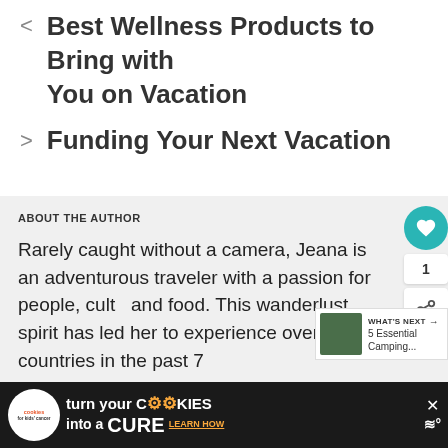< Best Wellness Products to Bring with You on Vacation
> Funding Your Next Vacation
ABOUT THE AUTHOR
Rarely caught without a camera, Jeana is an adventurous traveler with a passion for people, cult and food. This wanderlust spirit has led her to experience over 50 countries in the past 7...
When she's not out gallivanting around the world or usi... sewing...